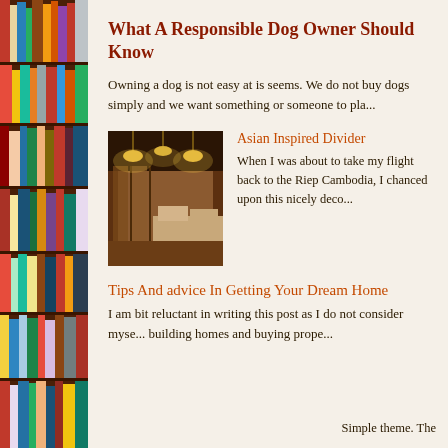[Figure (photo): Bookshelf sidebar with colorful books on wooden shelves]
What A Responsible Dog Owner Should Know
Owning a dog is not easy at is seems. We do not buy dogs simply and we want something or someone to pla...
[Figure (photo): Interior photo of an Asian inspired room divider with hanging lights]
Asian Inspired Divider
When I was about to take my flight back to the Riep Cambodia, I chanced upon this nicely deco...
Tips And advice In Getting Your Dream Home
I am bit reluctant in writing this post as I do not consider myse... building homes and buying prope...
Simple theme. The